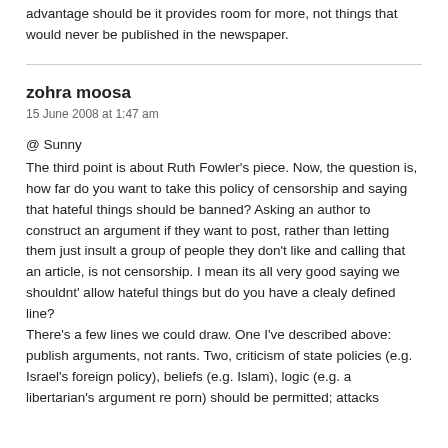advantage should be it provides room for more, not things that would never be published in the newspaper.
zohra moosa
15 June 2008 at 1:47 am
@ Sunny
The third point is about Ruth Fowler's piece. Now, the question is, how far do you want to take this policy of censorship and saying that hateful things should be banned? Asking an author to construct an argument if they want to post, rather than letting them just insult a group of people they don't like and calling that an article, is not censorship. I mean its all very good saying we shouldnt' allow hateful things but do you have a clealy defined line?
There's a few lines we could draw. One I've described above: publish arguments, not rants. Two, criticism of state policies (e.g. Israel's foreign policy), beliefs (e.g. Islam), logic (e.g. a libertarian's argument re porn) should be permitted; attacks